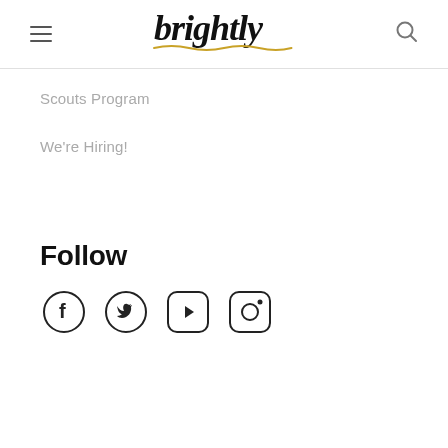brightly
Scouts Program
We're Hiring!
Follow
[Figure (illustration): Social media icons: Facebook, Twitter, YouTube, Instagram]